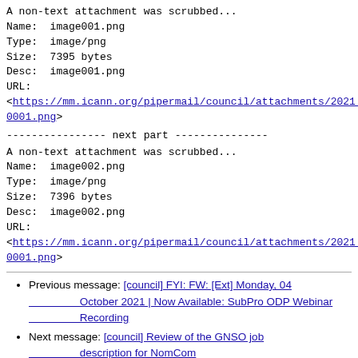A non-text attachment was scrubbed...
Name: image001.png
Type: image/png
Size: 7395 bytes
Desc: image001.png
URL:
<https://mm.icann.org/pipermail/council/attachments/2021.../0001.png>
---------------- next part ---------------
A non-text attachment was scrubbed...
Name: image002.png
Type: image/png
Size: 7396 bytes
Desc: image002.png
URL:
<https://mm.icann.org/pipermail/council/attachments/2021.../0001.png>
Previous message: [council] FYI: FW: [Ext] Monday, 04 October 2021 | Now Available: SubPro ODP Webinar Recording
Next message: [council] Review of the GNSO job description for NomCom
Messages sorted by: [ date ] [ thread ] [ subject ] [ author ]
More information about the council mailing list